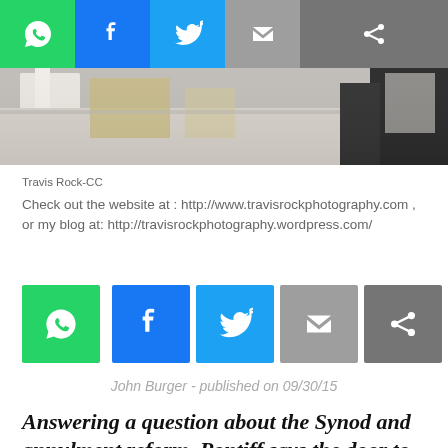[Figure (photo): Partial photo showing what appears to be candles or decorative objects on a table, with a person in dark clothing visible on the right side. Photo credit: Travis Rock-CC]
Travis Rock-CC
Check out the website at : http://www.travisrockphotography.com , or my blog at: http://travisrockphotography.wordpress.com/
John Burger - published on 09/30/15
Answering a question about the Synod and annulment reform, Pontiff says the door to